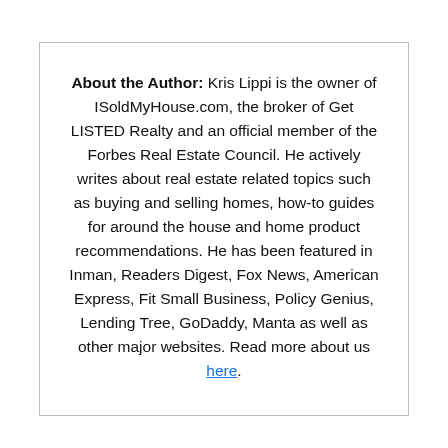About the Author: Kris Lippi is the owner of ISoldMyHouse.com, the broker of Get LISTED Realty and an official member of the Forbes Real Estate Council. He actively writes about real estate related topics such as buying and selling homes, how-to guides for around the house and home product recommendations. He has been featured in Inman, Readers Digest, Fox News, American Express, Fit Small Business, Policy Genius, Lending Tree, GoDaddy, Manta as well as other major websites. Read more about us here.